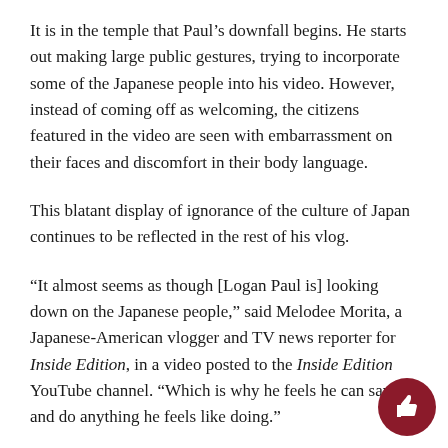It is in the temple that Paul's downfall begins. He starts out making large public gestures, trying to incorporate some of the Japanese people into his video. However, instead of coming off as welcoming, the citizens featured in the video are seen with embarrassment on their faces and discomfort in their body language.
This blatant display of ignorance of the culture of Japan continues to be reflected in the rest of his vlog.
“It almost seems as though [Logan Paul is] looking down on the Japanese people,” said Melodee Morita, a Japanese-American vlogger and TV news reporter for Inside Edition, in a video posted to the Inside Edition YouTube channel. “Which is why he feels he can say and do anything he feels like doing.”
The disrespect continues and spreads onto a much larger scale later on in the video. Paul and his friends go into